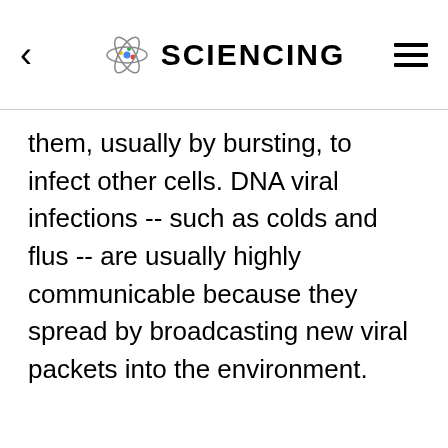SCIENCING
them, usually by bursting, to infect other cells. DNA viral infections -- such as colds and flus -- are usually highly communicable because they spread by broadcasting new viral packets into the environment.